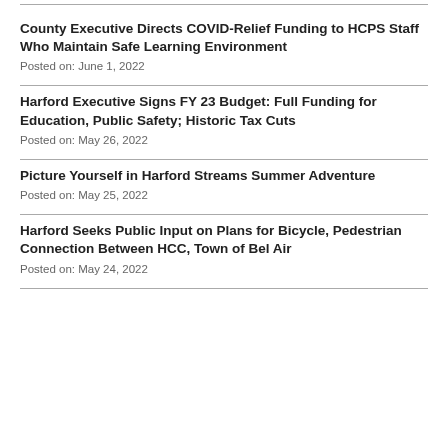County Executive Directs COVID-Relief Funding to HCPS Staff Who Maintain Safe Learning Environment
Posted on: June 1, 2022
Harford Executive Signs FY 23 Budget: Full Funding for Education, Public Safety; Historic Tax Cuts
Posted on: May 26, 2022
Picture Yourself in Harford Streams Summer Adventure
Posted on: May 25, 2022
Harford Seeks Public Input on Plans for Bicycle, Pedestrian Connection Between HCC, Town of Bel Air
Posted on: May 24, 2022